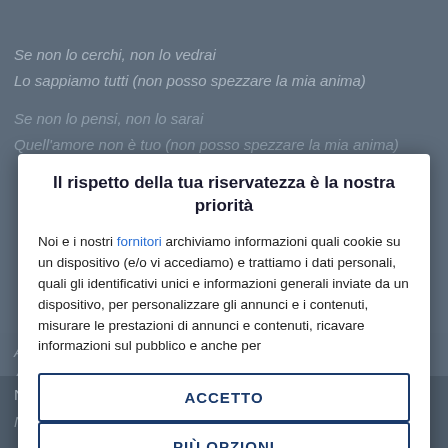Se non lo cerchi, non lo vedrai
Lo sappiamo tutti (non posso spezzare la mia anima)
Se non lo pensi, non lo sarai
Quell'amore non è tuo (non posso spezzare la mia anima)
Il rispetto della tua riservatezza è la nostra priorità
Noi e i nostri fornitori archiviamo informazioni quali cookie su un dispositivo (e/o vi accediamo) e trattiamo i dati personali, quali gli identificativi unici e informazioni generali inviate da un dispositivo, per personalizzare gli annunci e i contenuti, misurare le prestazioni di annunci e contenuti, ricavare informazioni sul pubblico e anche per
ACCETTO
PIÙ OPZIONI
Alla ricerca dell'amore (in fondo in fondo)
Alla ricerca dell'amore
Alla ricerca di qualcosa che viva dentro di me
Non mi spezzerai l'anima
Non mi spezzerai l'anima